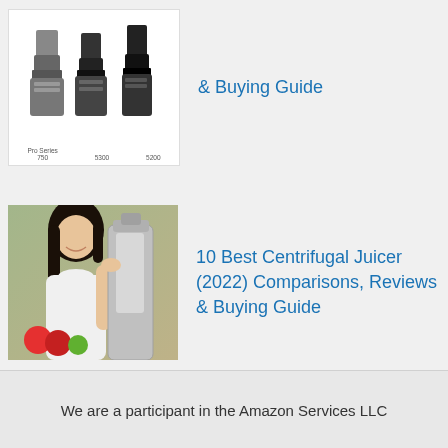[Figure (photo): Three blenders side by side: Pro Series 750, 5300, 5200 with white background]
& Buying Guide
[Figure (photo): Woman using a centrifugal juicer in a kitchen with fruits nearby]
10 Best Centrifugal Juicer (2022) Comparisons, Reviews & Buying Guide
We are a participant in the Amazon Services LLC